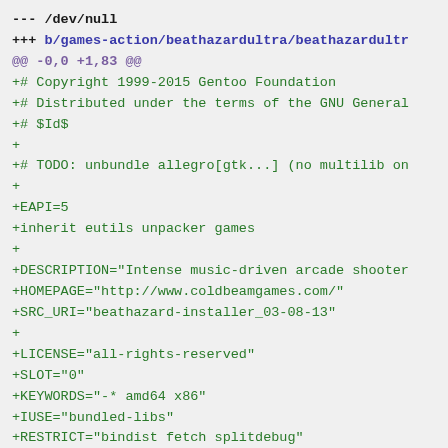--- /dev/null
+++ b/games-action/beathazardultra/beathazardultr
@@ -0,0 +1,83 @@
+# Copyright 1999-2015 Gentoo Foundation
+# Distributed under the terms of the GNU General
+# $Id$
+
+# TODO: unbundle allegro[gtk...] (no multilib on
+
+EAPI=5
+inherit eutils unpacker games
+
+DESCRIPTION="Intense music-driven arcade shooter
+HOMEPAGE="http://www.coldbeamgames.com/"
+SRC_URI="beathazard-installer_03-08-13"
+
+LICENSE="all-rights-reserved"
+SLOT="0"
+KEYWORDS="-* amd64 x86"
+IUSE="bundled-libs"
+RESTRICT="bindist fetch splitdebug"